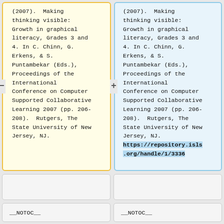(2007). Making thinking visible: Growth in graphical literacy, Grades 3 and 4. In C. Chinn, G. Erkens, & S. Puntambekar (Eds.), Proceedings of the International Conference on Computer Supported Collaborative Learning 2007 (pp. 206-208). Rutgers, The State University of New Jersey, NJ.
(2007). Making thinking visible: Growth in graphical literacy, Grades 3 and 4. In C. Chinn, G. Erkens, & S. Puntambekar (Eds.), Proceedings of the International Conference on Computer Supported Collaborative Learning 2007 (pp. 206-208). Rutgers, The State University of New Jersey, NJ. https://repository.isls.org/handle/1/3336
__NOTOC__
__NOTOC__